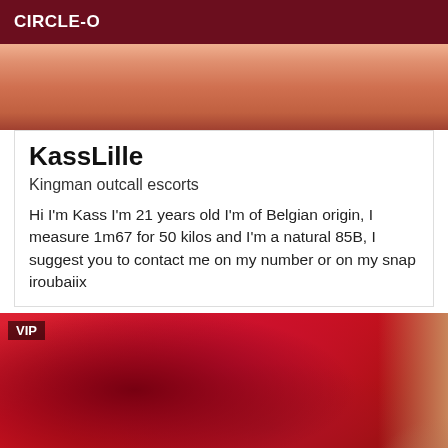CIRCLE-O
[Figure (photo): Close-up photo with warm skin tones at top]
KassLille
Kingman outcall escorts
Hi I'm Kass I'm 21 years old I'm of Belgian origin, I measure 1m67 for 50 kilos and I'm a natural 85B, I suggest you to contact me on my number or on my snap iroubaiix
[Figure (photo): Photo showing red lace lingerie on dark skin background, with VIP badge overlay]